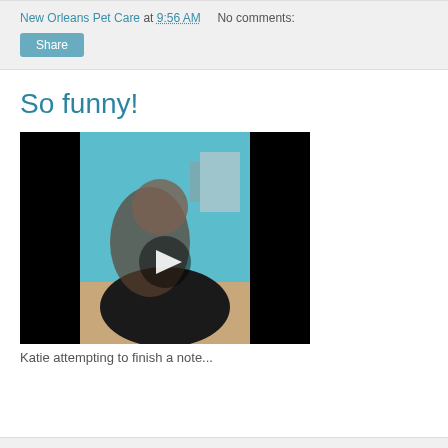New Orleans Pet Care at 9:56 AM   No comments:
Share
So funny!
[Figure (photo): Video thumbnail showing a person with a dog, with a play button overlay. Black bars on left and right sides.]
Katie attempting to finish a note...